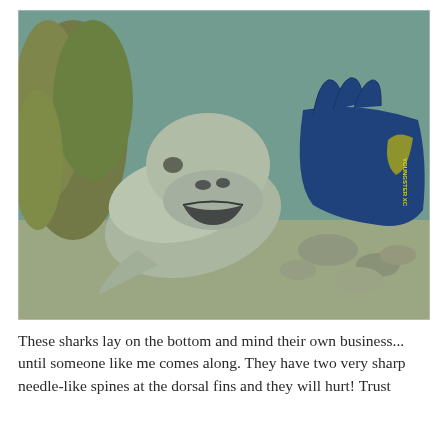[Figure (photo): Underwater photograph of a nurse shark or similar bottom-dwelling shark being held by a diver wearing a blue wetsuit glove (branded 'Youngster XC'). The shark's underside and mouth are visible. The seafloor has coral rubble and rocky substrate, with algae-covered rocks in the background.]
These sharks lay on the bottom and mind their own business... until someone like me comes along. They have two very sharp needle-like spines at the dorsal fins and they will hurt! Trust